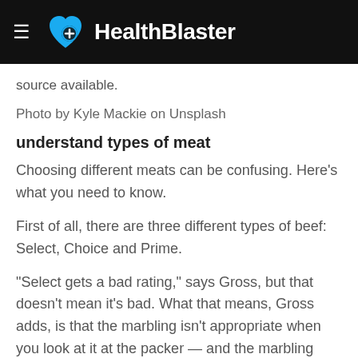HealthBlaster
source available.
Photo by Kyle Mackie on Unsplash
understand types of meat
Choosing different meats can be confusing. Here's what you need to know.
First of all, there are three different types of beef: Select, Choice and Prime.
"Select gets a bad rating," says Gross, but that doesn't mean it's bad. What that means, Gross adds, is that the marbling isn't appropriate when you look at it at the packer — and the marbling really gives